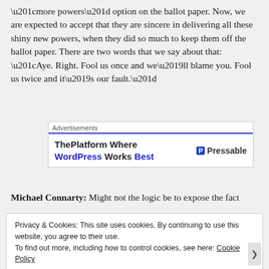“more powers” option on the ballot paper. Now, we are expected to accept that they are sincere in delivering all these shiny new powers, when they did so much to keep them off the ballot paper. There are two words that we say about that: “Aye. Right. Fool us once and we’ll blame you. Fool us twice and it’s our fault.”
[Figure (other): Advertisement banner: ThePlatform Where WordPress Works Best | Pressable]
Michael Connarty: Might not the logic be to expose the fact that...
Privacy & Cookies: This site uses cookies. By continuing to use this website, you agree to their use.
To find out more, including how to control cookies, see here: Cookie Policy
Close and accept